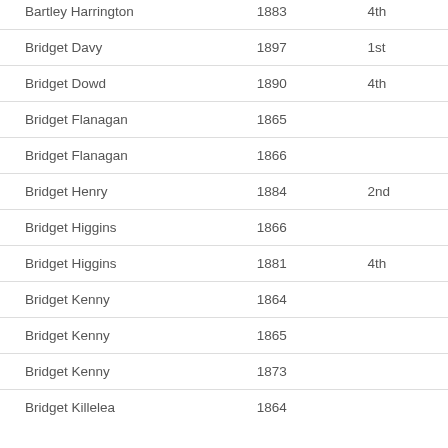| Name | Year | Position |
| --- | --- | --- |
| Bartley Harrington | 1883 | 4th |
| Bridget Davy | 1897 | 1st |
| Bridget Dowd | 1890 | 4th |
| Bridget Flanagan | 1865 |  |
| Bridget Flanagan | 1866 |  |
| Bridget Henry | 1884 | 2nd |
| Bridget Higgins | 1866 |  |
| Bridget Higgins | 1881 | 4th |
| Bridget Kenny | 1864 |  |
| Bridget Kenny | 1865 |  |
| Bridget Kenny | 1873 |  |
| Bridget Killelea | 1864 |  |